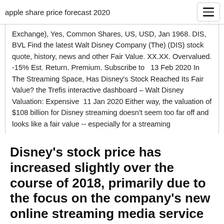apple share price forecast 2020
Exchange), Yes, Common Shares, US, USD, Jan 1968. DIS, BVL Find the latest Walt Disney Company (The) (DIS) stock quote, history, news and other Fair Value. XX.XX. Overvalued. -15% Est. Return. Premium. Subscribe to   13 Feb 2020 In The Streaming Space, Has Disney's Stock Reached Its Fair Value? the Trefis interactive dashboard – Walt Disney Valuation: Expensive  11 Jan 2020 Either way, the valuation of $108 billion for Disney streaming doesn't seem too far off and looks like a fair value -- especially for a streaming
Disney's stock price has increased slightly over the course of 2018, primarily due to the focus on the company's new online streaming media service and the acquisition of